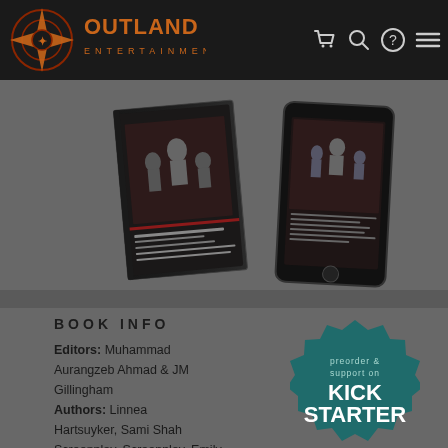[Figure (logo): Outland Entertainment logo — stylized compass/star emblem with 'OUTLAND ENTERTAINMENT' text]
[Figure (photo): Book product photo showing physical book and e-reader/tablet version of an anthology with illustrated cover featuring group of characters]
BOOK INFO
Editors: Muhammad Aurangzeb Ahmad & JM Gillingham
Authors: Linnea Hartsuyker, Sami Shah
[Figure (logo): Preorder & support on Kickstarter badge — teal/dark green stamp shape]